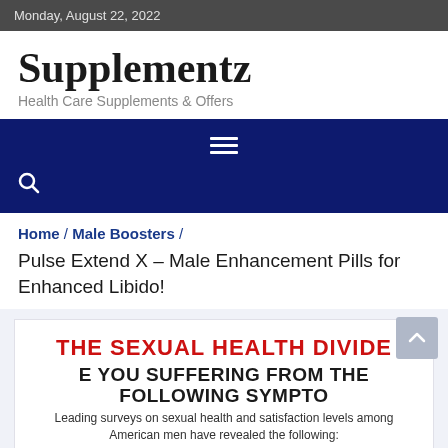Monday, August 22, 2022
Supplementz
Health Care Supplements & Offers
Home / Male Boosters / Pulse Extend X – Male Enhancement Pills for Enhanced Libido!
[Figure (infographic): THE SEXUAL HEALTH DIVIDE / ARE YOU SUFFERING FROM THE FOLLOWING SYMPTOMS / Leading surveys on sexual health and satisfaction levels among American men have revealed the following:]